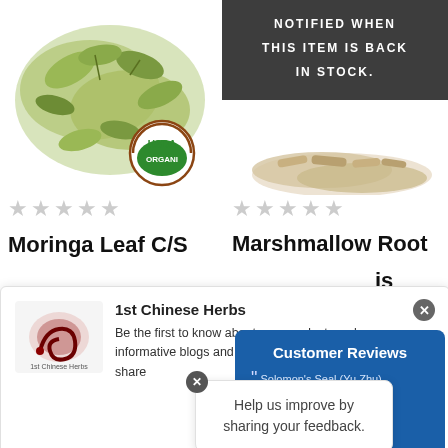[Figure (photo): Moringa leaf cut and sifted herb pile with USDA Organic badge on left product panel]
[Figure (photo): Marshmallow root herb with dark gray banner reading NOTIFIED WHEN THIS ITEM IS BACK IN STOCK on right panel]
★★★★★ (empty stars)
Moringa Leaf C/S
★★★★★ (empty stars)
Marshmallow Root
[Figure (logo): 1st Chinese Herbs logo with dragon/serpent illustration]
1st Chinese Herbs
Be the first to know about new products, sales, informative blogs and more! Please allow us to share
Customer Reviews
Solomon's Seal (Yu Zhu), excellent
remains in stock.
DAVID T
Help us improve by sharing your feedback.
Shares